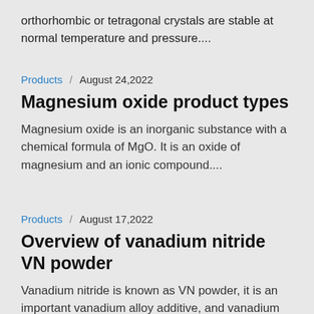orthorhombic or tetragonal crystals are stable at normal temperature and pressure....
Products / August 24,2022
Magnesium oxide product types
Magnesium oxide is an inorganic substance with a chemical formula of MgO. It is an oxide of magnesium and an ionic compound....
Products / August 17,2022
Overview of vanadium nitride VN powder
Vanadium nitride is known as VN powder, it is an important vanadium alloy additive, and vanadium nitride is used in lithium electronic batteries and energy storage materials.